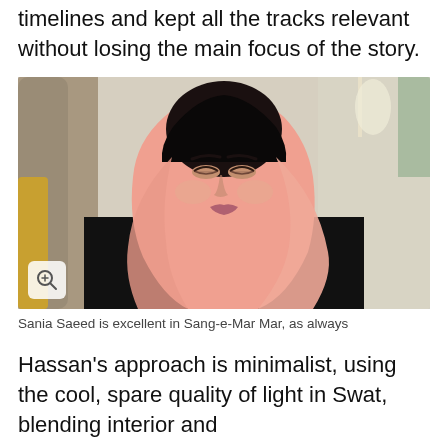vibrant life on our screens without confusing the timelines and kept all the tracks relevant without losing the main focus of the story.
[Figure (photo): Sania Saeed wearing a black outfit and pink/salmon headscarf, looking downward, in an indoor setting with blurred background.]
Sania Saeed is excellent in Sang-e-Mar Mar, as always
Hassan's approach is minimalist, using the cool, spare quality of light in Swat, blending interior and